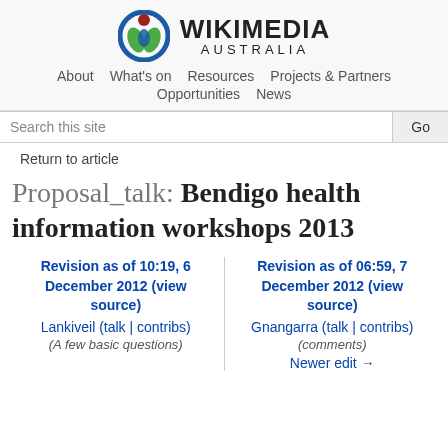[Figure (logo): Wikimedia Australia logo with circular green and blue icon and red dot, next to bold text WIKIMEDIA AUSTRALIA]
About  What's on  Resources  Projects & Partners  Opportunities  News
Search this site  Go
Return to article
Proposal_talk: Bendigo health information workshops 2013
Revision as of 10:19, 6 December 2012 (view source)
Lankiveil (talk | contribs)
(A few basic questions)
Revision as of 06:59, 7 December 2012 (view source)
Gnangarra (talk | contribs)
(comments)
Newer edit →